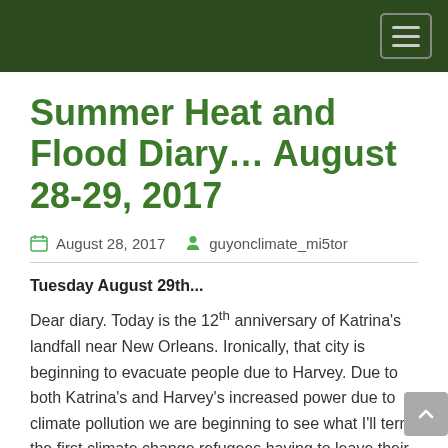Summer Heat and Flood Diary… August 28-29, 2017
August 28, 2017   guyonclimate_mi5tor
Tuesday August 29th...
Dear diary. Today is the 12th anniversary of Katrina's landfall near New Orleans. Ironically, that city is beginning to evacuate people due to Harvey. Due to both Katrina's and Harvey's increased power due to climate pollution we are beginning to see what I'll term the first climate change refugees having to leave their homes and move elsewhere away from the coast